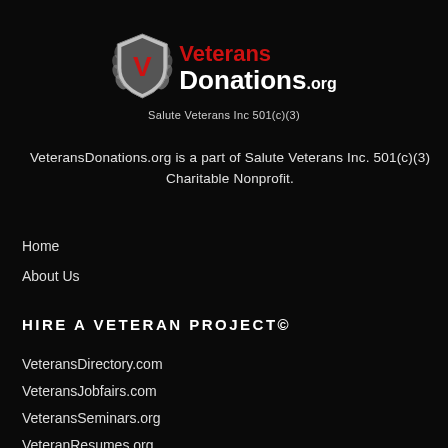[Figure (logo): VeteransDonations.org logo with shield emblem containing letter V, red Veterans text, white Donations.org text, and Salute Veterans Inc 501(c)(3) subtitle]
VeteransDonations.org is a part of Salute Veterans Inc. 501(c)(3) Charitable Nonprofit.
Home
About Us
HIRE A VETERAN PROJECT©
VeteransDirectory.com
VeteransJobfairs.com
VeteransSeminars.org
VeteranResumes.org